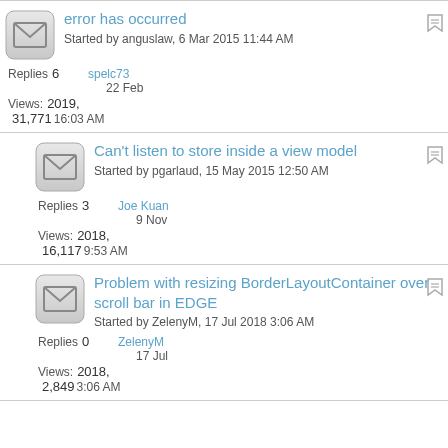error has occurred
Started by anguslaw, 6 Mar 2015 11:44 AM
Replies: 6   spelc73   22 Feb   Views: 31,771   2019, 16:03 AM
Can't listen to store inside a view model
Started by pgarlaud, 15 May 2015 12:50 AM
Replies: 3   Joe Kuan   9 Nov   Views: 16,117   2018, 9:53 AM
Problem with resizing BorderLayoutContainer over scroll bar in EDGE
Started by ZelenyM, 17 Jul 2018 3:06 AM
Replies: 0   ZelenyM   17 Jul   Views: 2,849   2018, 3:06 AM